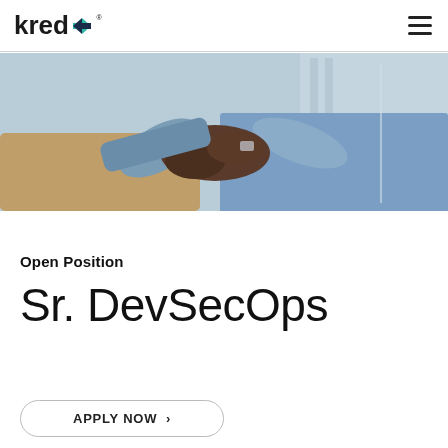kredX® [navigation logo and hamburger menu]
[Figure (photo): Two people shaking hands in a business setting, wearing professional attire, with a blurred office/window background]
Open Position
Sr. DevSecOps
APPLY NOW →